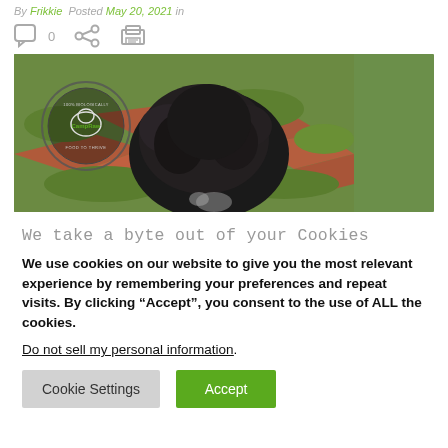By Frikkie  Posted May 20, 2021  in
[Figure (other): Icon row with comment bubble showing 0, share icon, and print icon]
[Figure (photo): A large fluffy dark-colored dog seen from behind, standing on red brick pavers surrounded by grass. A circular CampRaw logo watermark is visible in the upper left corner of the image.]
We take a byte out of your Cookies
We use cookies on our website to give you the most relevant experience by remembering your preferences and repeat visits. By clicking “Accept”, you consent to the use of ALL the cookies.
Do not sell my personal information.
Cookie Settings  Accept